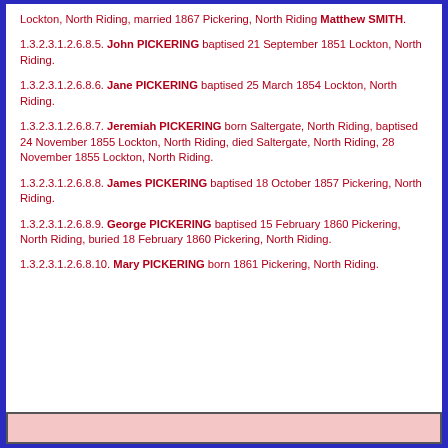Lockton, North Riding, married 1867 Pickering, North Riding Matthew SMITH.
1.3.2.3.1.2.6.8.5. John PICKERING baptised 21 September 1851 Lockton, North Riding.
1.3.2.3.1.2.6.8.6. Jane PICKERING baptised 25 March 1854 Lockton, North Riding.
1.3.2.3.1.2.6.8.7. Jeremiah PICKERING born Saltergate, North Riding, baptised 24 November 1855 Lockton, North Riding, died Saltergate, North Riding, 28 November 1855 Lockton, North Riding.
1.3.2.3.1.2.6.8.8. James PICKERING baptised 18 October 1857 Pickering, North Riding.
1.3.2.3.1.2.6.8.9. George PICKERING baptised 15 February 1860 Pickering, North Riding, buried 18 February 1860 Pickering, North Riding.
1.3.2.3.1.2.6.8.10. Mary PICKERING born 1861 Pickering, North Riding.